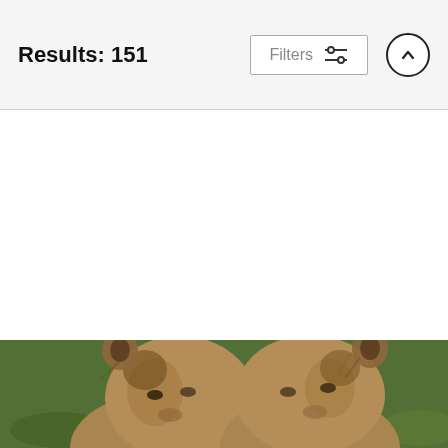Results: 151
[Figure (screenshot): UI screenshot showing a search results page header with Results: 151 text, a Filters button with sliders icon, and an up-arrow button]
Oryx Namibia
Alexander Koenders
$25
[Figure (photo): Two young lions (cubs) photographed close-up, facing slightly forward, with green grass/vegetation in the background]